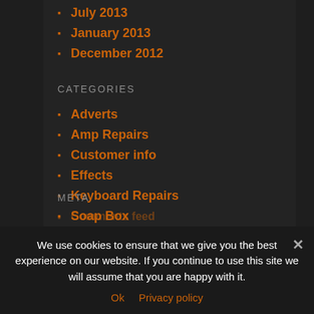July 2013
January 2013
December 2012
CATEGORIES
Adverts
Amp Repairs
Customer info
Effects
Keyboard Repairs
Soap Box
Uncategorized
Visitor Gallery
META
Comments feed
WordPress.org
We use cookies to ensure that we give you the best experience on our website. If you continue to use this site we will assume that you are happy with it.
Ok  Privacy policy